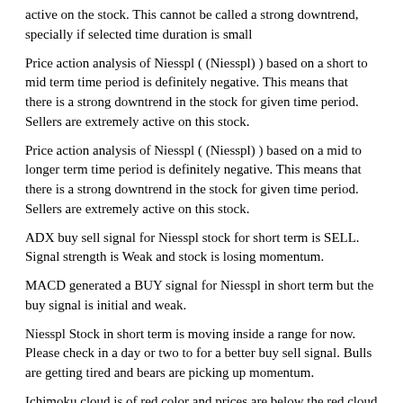active on the stock. This cannot be called a strong downtrend, specially if selected time duration is small
Price action analysis of Niesspl ( (Niesspl) ) based on a short to mid term time period is definitely negative. This means that there is a strong downtrend in the stock for given time period. Sellers are extremely active on this stock.
Price action analysis of Niesspl ( (Niesspl) ) based on a mid to longer term time period is definitely negative. This means that there is a strong downtrend in the stock for given time period. Sellers are extremely active on this stock.
ADX buy sell signal for Niesspl stock for short term is SELL. Signal strength is Weak and stock is losing momentum.
MACD generated a BUY signal for Niesspl in short term but the buy signal is initial and weak.
Niesspl Stock in short term is moving inside a range for now. Please check in a day or two to for a better buy sell signal. Bulls are getting tired and bears are picking up momentum.
Ichimoku cloud is of red color and prices are below the red cloud Prices appear to be coming down
CCI has generated a SELL signal for Niesspl in short term and SELL signal is strong!